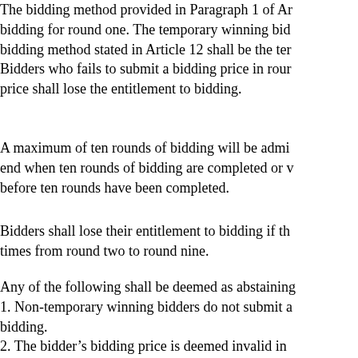The bidding method provided in Paragraph 1 of Ar bidding for round one. The temporary winning bid bidding method stated in Article 12 shall be the ter Bidders who fails to submit a bidding price in rour price shall lose the entitlement to bidding.
A maximum of ten rounds of bidding will be admi end when ten rounds of bidding are completed or v before ten rounds have been completed.
Bidders shall lose their entitlement to bidding if th times from round two to round nine.
Any of the following shall be deemed as abstaining
1. Non-temporary winning bidders do not submit a bidding.
2. The bidder's bidding price is deemed invalid in
Starting from round two, bidders shall submit a bic methods:
1. Bidders are limited to submit one bidding price price for one bidding subject only.
2. The bidder that offers the highest bidding price temporary winning bidder; the bidding price shall temporary winning bidder of every round may sub